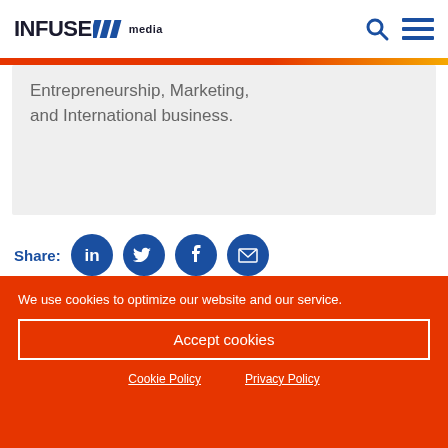INFUSE media
Entrepreneurship, Marketing, and International business.
Share:
We use cookies to optimize our website and our service.
Accept cookies
Cookie Policy
Privacy Policy